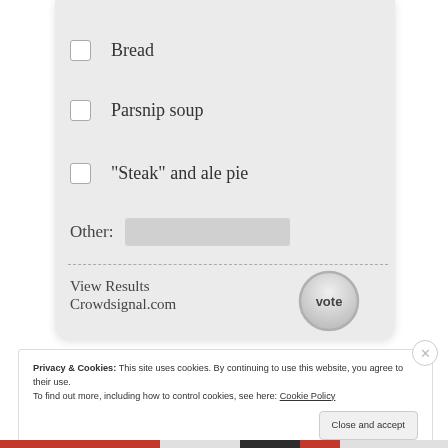Bread
Parsnip soup
"Steak" and ale pie
Other:
View Results
Crowdsignal.com
vote
Privacy & Cookies: This site uses cookies. By continuing to use this website, you agree to their use.
To find out more, including how to control cookies, see here: Cookie Policy
Close and accept